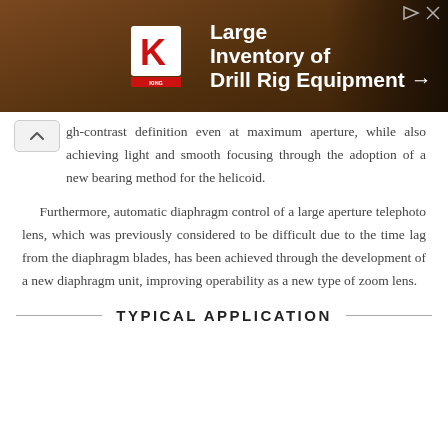[Figure (infographic): Advertisement banner for King Oil Tools showing 'Large Inventory of Drill Rig Equipment' with a King logo (red K on white shield) and a background photo of drill rig equipment.]
gh-contrast definition even at maximum aperture, while also achieving light and smooth focusing through the adoption of a new bearing method for the helicoid.
Furthermore, automatic diaphragm control of a large aperture telephoto lens, which was previously considered to be difficult due to the time lag from the diaphragm blades, has been achieved through the development of a new diaphragm unit, improving operability as a new type of zoom lens.
TYPICAL APPLICATION